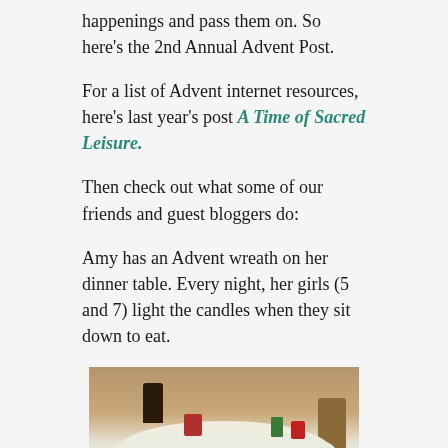happenings and pass them on. So here's the 2nd Annual Advent Post.
For a list of Advent internet resources, here's last year's post A Time of Sacred Leisure.
Then check out what some of our friends and guest bloggers do:
Amy has an Advent wreath on her dinner table. Every night, her girls (5 and 7) light the candles when they sit down to eat.
[Figure (photo): Dinner table with white tablecloth and Advent wreath, red decorations and green cup visible, chairs around the table]